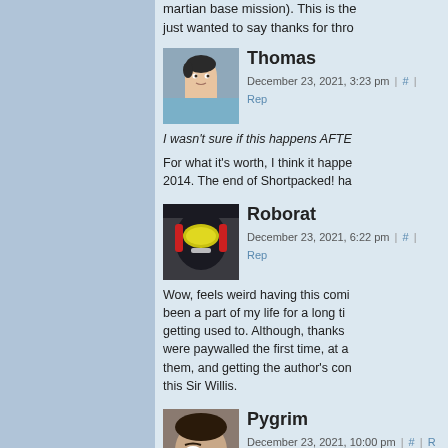martian base mission). This is the just wanted to say thanks for thro
Thomas
December 23, 2021, 3:23 pm | # | Rep
I wasn't sure if this happens AFTE
For what it's worth, I think it happe 2014. The end of Shortpacked! ha
Roborat
December 23, 2021, 6:22 pm | # | Rep
Wow, feels weird having this comi been a part of my life for a long ti getting used to. Although, thanks were paywalled the first time, at a them, and getting the author's con this Sir Willis.
Pygrim
December 23, 2021, 10:00 pm | # | R
When I started reading Roomies/R and I was still pretty much a Joyc up with religion (and Scott Kurtz f around the same time) was some